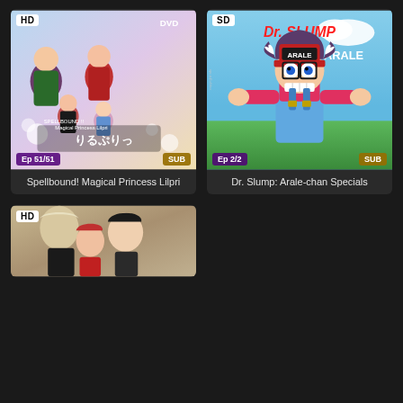[Figure (screenshot): Anime DVD cover for Spellbound! Magical Princess Lilpri showing anime girls with HD badge, Ep 51/51 and SUB labels]
Spellbound! Magical Princess Lilpri
[Figure (screenshot): Anime cover for Dr. Slump: Arale-chan Specials showing Arale character with SD badge, Ep 2/2 and SUB labels]
Dr. Slump: Arale-chan Specials
[Figure (screenshot): Anime cover showing manga-style characters with HD badge, partially visible at bottom of page]